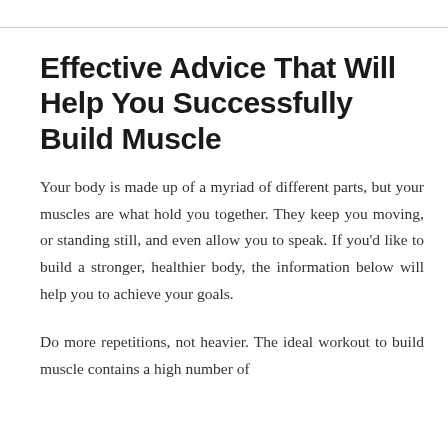Effective Advice That Will Help You Successfully Build Muscle
Your body is made up of a myriad of different parts, but your muscles are what hold you together. They keep you moving, or standing still, and even allow you to speak. If you'd like to build a stronger, healthier body, the information below will help you to achieve your goals.
Do more repetitions, not heavier. The ideal workout to build muscle contains a high number of